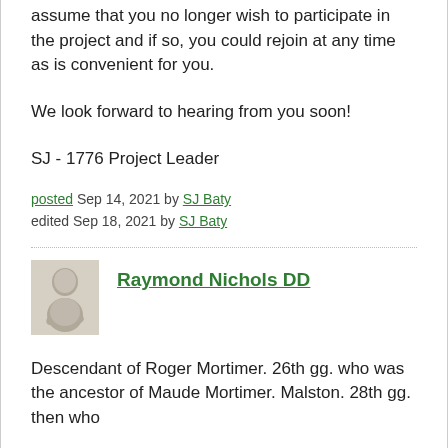assume that you no longer wish to participate in the project and if so, you could rejoin at any time as is convenient for you.
We look forward to hearing from you soon!
SJ - 1776 Project Leader
posted Sep 14, 2021 by SJ Baty
edited Sep 18, 2021 by SJ Baty
Raymond Nichols DD
Descendant of Roger Mortimer. 26th gg. who was the ancestor of Maude Mortimer. Malston. 28th gg. then who